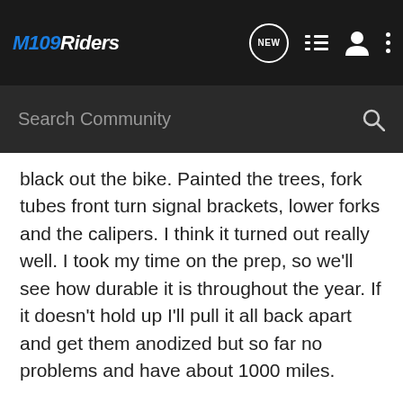M109Riders
black out the bike. Painted the trees, fork tubes front turn signal brackets, lower forks and the calipers. I think it turned out really well. I took my time on the prep, so we'll see how durable it is throughout the year. If it doesn't hold up I'll pull it all back apart and get them anodized but so far no problems and have about 1000 miles.